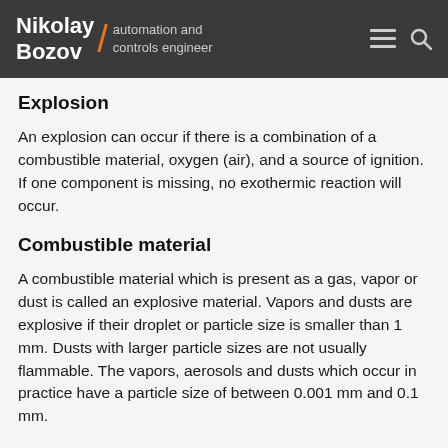Nikolay Bozov / automation and controls engineer
Explosion
An explosion can occur if there is a combination of a combustible material, oxygen (air), and a source of ignition. If one component is missing, no exothermic reaction will occur.
Combustible material
A combustible material which is present as a gas, vapor or dust is called an explosive material. Vapors and dusts are explosive if their droplet or particle size is smaller than 1 mm. Dusts with larger particle sizes are not usually flammable. The vapors, aerosols and dusts which occur in practice have a particle size of between 0.001 mm and 0.1 mm.